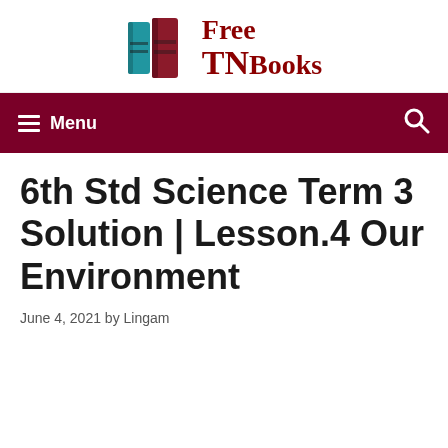[Figure (logo): FreeTNBooks logo with two book icons (blue and red) and text 'Free TN Books' in dark red serif font]
Menu | Search
6th Std Science Term 3 Solution | Lesson.4 Our Environment
June 4, 2021 by Lingam